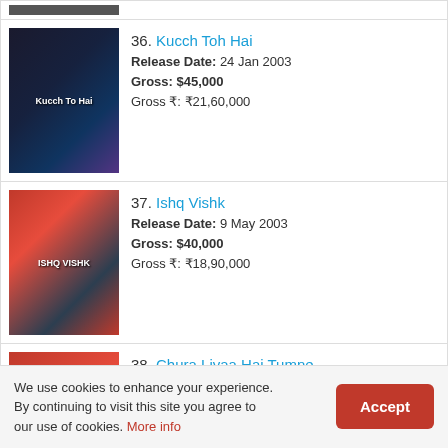36. Kucch Toh Hai | Release Date: 24 Jan 2003 | Gross: $45,000 | Gross ₹: ₹21,60,000
37. Ishq Vishk | Release Date: 9 May 2003 | Gross: $40,000 | Gross ₹: ₹18,90,000
38. Chura Liyaa Hai Tumne | Release Date: 21 Mar 2003 | Gross: $40,000 | Gross ₹: ₹19,10,000
39. Gangaaial
We use cookies to enhance your experience. By continuing to visit this site you agree to our use of cookies. More info